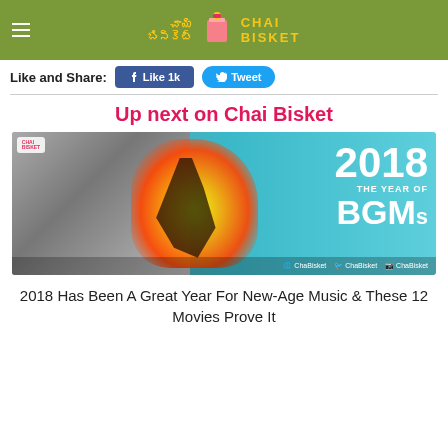Chai Bisket
Like and Share:
[Figure (photo): Promotional image for '2018 The Year of BGMs' article showing a person on fire jumping from a building against a teal background with white bold text]
Up next on Chai Bisket
2018 Has Been A Great Year For New-Age Music & These 12 Movies Prove It